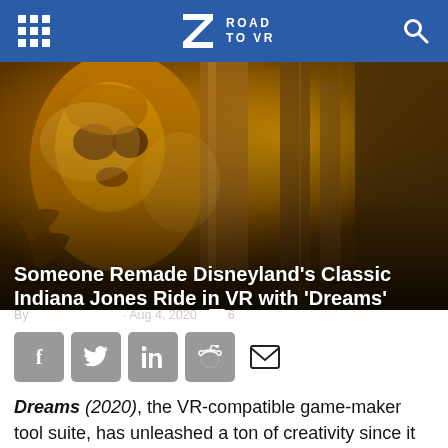ROAD TO VR
[Figure (photo): Hero image showing the interior of a Disneyland Indiana Jones themed ride with golden glowing idol statues, dark atmospheric lighting with orange and amber tones]
Someone Remade Disneyland's Classic Indiana Jones Ride in VR with 'Dreams'
By Scott Hayden · Aug 4, 2020 · 6 comments
[Figure (infographic): Social share buttons: Facebook, Twitter, LinkedIn, Reddit, Email]
Dreams (2020), the VR-compatible game-maker tool suite, has unleashed a ton of creativity since it launched on PS4